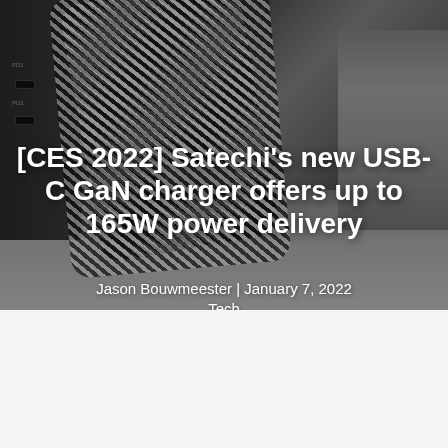[Figure (photo): Close-up photo of a Satechi braided USB-C cable connected to a USB-C port on a dark device, with other electronic devices visible in the background on a concrete-like surface.]
[CES 2022] Satechi's new USB-C GaN charger offers up to 165W power delivery
Jason Bouwmeester | January 7, 2022
Tech